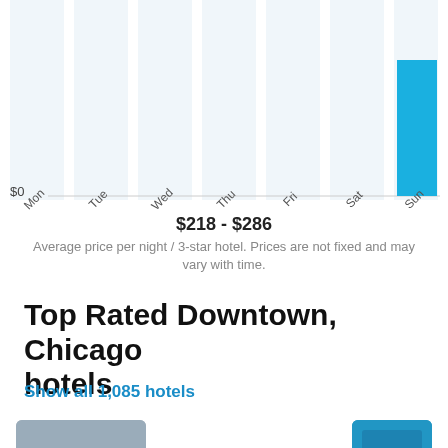[Figure (bar-chart): Hotel prices by day of week]
$218 - $286
Average price per night / 3-star hotel. Prices are not fixed and may vary with time.
Top Rated Downtown, Chicago hotels
Show all 1,085 hotels
[Figure (photo): Hotel thumbnail image with number 1]
Virgin Hotels Chicago
[Figure (photo): Hotel thumbnail image with number 2]